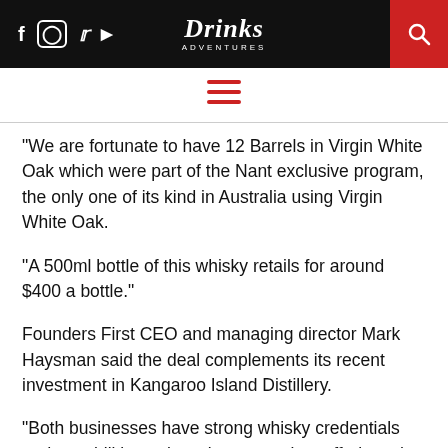Drinks Adventures
“We are fortunate to have 12 Barrels in Virgin White Oak which were part of the Nant exclusive program, the only one of its kind in Australia using Virgin White Oak.
“A 500ml bottle of this whisky retails for around $400 a bottle.”
Founders First CEO and managing director Mark Haysman said the deal complements its recent investment in Kangaroo Island Distillery.
“Both businesses have strong whisky credentials and capabilities to barrel age premium offerings that originate in two of the most respected craft provenances in Australia – the pristine altitudes of the Tasmanian